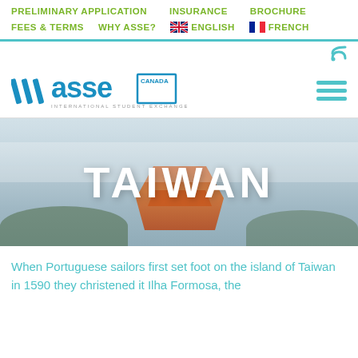PRELIMINARY APPLICATION   INSURANCE   BROCHURE
FEES & TERMS   WHY ASSE?   ENGLISH   FRENCH
[Figure (logo): ASSE International Student Exchange Programs Canada logo]
[Figure (photo): Hero image of Taiwan with traditional architecture, overlaid with large white text TAIWAN]
TAIWAN
When Portuguese sailors first set foot on the island of Taiwan in 1590 they christened it Ilha Formosa, the